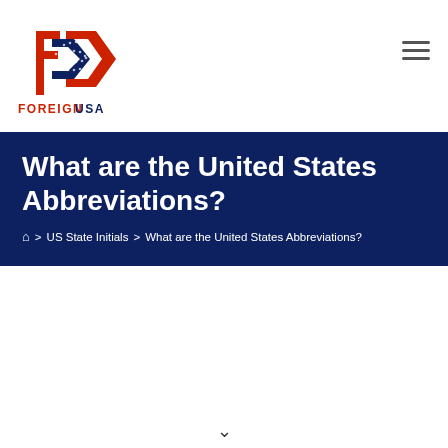[Figure (logo): ForeignUSA logo: stylized double chevron/arrow in red, white (with stars pattern), and navy blue, with text FOREIGNUSA below in red and dark blue]
What are the United States Abbreviations?
🏠 > US State Initials > What are the United States Abbreviations?